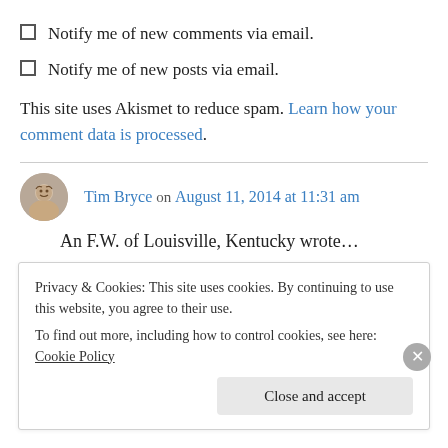Notify me of new comments via email.
Notify me of new posts via email.
This site uses Akismet to reduce spam. Learn how your comment data is processed.
Tim Bryce on August 11, 2014 at 11:31 am
An F.W. of Louisville, Kentucky wrote…
Privacy & Cookies: This site uses cookies. By continuing to use this website, you agree to their use. To find out more, including how to control cookies, see here: Cookie Policy